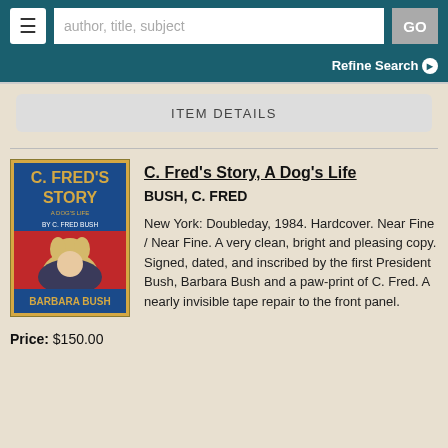author, title, subject | GO | Refine Search
ITEM DETAILS
[Figure (illustration): Book cover of C. Fred's Story, A Dog's Life by Barbara Bush showing a golden dog and a woman on red background]
C. Fred's Story, A Dog's Life
BUSH, C. FRED
New York: Doubleday, 1984. Hardcover. Near Fine / Near Fine. A very clean, bright and pleasing copy. Signed, dated, and inscribed by the first President Bush, Barbara Bush and a paw-print of C. Fred. A nearly invisible tape repair to the front panel.
Price: $150.00